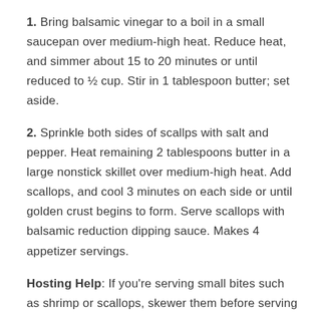1. Bring balsamic vinegar to a boil in a small saucepan over medium-high heat. Reduce heat, and simmer about 15 to 20 minutes or until reduced to ½ cup. Stir in 1 tablespoon butter; set aside.
2. Sprinkle both sides of scallps with salt and pepper. Heat remaining 2 tablespoons butter in a large nonstick skillet over medium-high heat. Add scallops, and cool 3 minutes on each side or until golden crust begins to form. Serve scallops with balsamic reduction dipping sauce. Makes 4 appetizer servings.
Hosting Help: If you're serving small bites such as shrimp or scallops, skewer them before serving for easy handling and charming presentation.